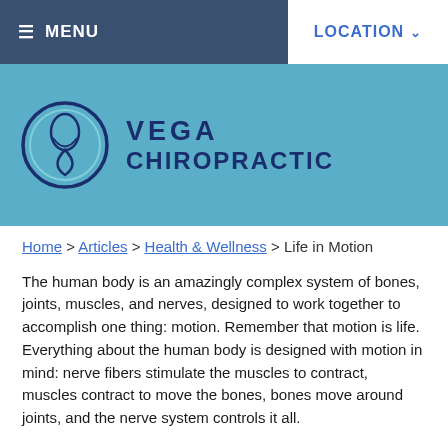≡ MENU | LOCATION
[Figure (logo): Vega Chiropractic logo with circular emblem and company name]
Home > Articles > Health & Wellness > Life in Motion
The human body is an amazingly complex system of bones, joints, muscles, and nerves, designed to work together to accomplish one thing: motion. Remember that motion is life. Everything about the human body is designed with motion in mind: nerve fibers stimulate the muscles to contract, muscles contract to move the bones, bones move around joints, and the nerve system controls it all.
As a matter of fact, research has shown that motion is